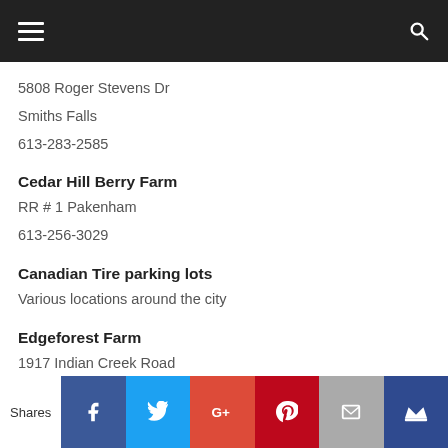Navigation bar with menu and search icons
5808 Roger Stevens Dr
Smiths Falls
613-283-2585
Cedar Hill Berry Farm
RR # 1 Pakenham
613-256-3029
Canadian Tire parking lots
Various locations around the city
Edgeforest Farm
1917 Indian Creek Road
Shares | Facebook | Twitter | Google+ | Pinterest | Email | Crown